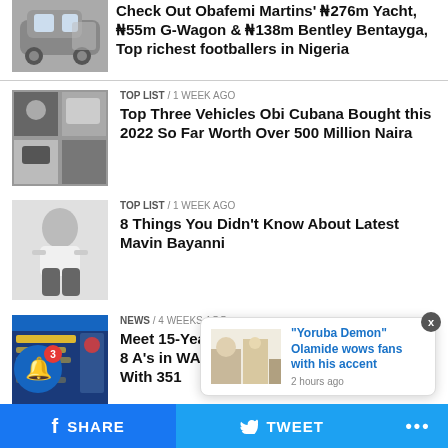[Figure (photo): Car thumbnail - G-Wagon or similar SUV with door open]
Check Out Obafemi Martins' N276m Yacht, N55m G-Wagon & N138m Bentley Bentayga, Top richest footballers in Nigeria
[Figure (photo): Collage of vehicles - luxury cars]
TOP LIST / 1 week ago
Top Three Vehicles Obi Cubana Bought this 2022 So Far Worth Over 500 Million Naira
[Figure (photo): Person in white shirt sitting - black and white photo]
TOP LIST / 1 week ago
8 Things You Didn't Know About Latest Mavin Bayanni
[Figure (screenshot): Screenshot of a document or website with blue and yellow colors]
NEWS / 4 weeks ago
Meet 15-Year-Old Nigerian Girl Who Scores 8 A's in WAEC 2022, Aces Her JAMB Papers With 351
[Figure (photo): Notification popup image - people standing]
“Yoruba Demon” Olamide wows fans with his accent
2 hours ago
f SHARE | TWEET | ...